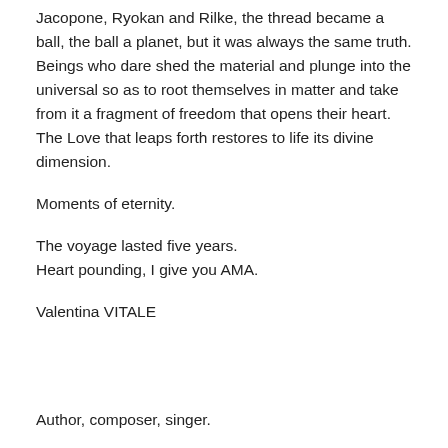Jacopone, Ryokan and Rilke, the thread became a ball, the ball a planet, but it was always the same truth. Beings who dare shed the material and plunge into the universal so as to root themselves in matter and take from it a fragment of freedom that opens their heart. The Love that leaps forth restores to life its divine dimension.
Moments of eternity.
The voyage lasted five years.
Heart pounding, I give you AMA.
Valentina VITALE
Author, composer, singer.